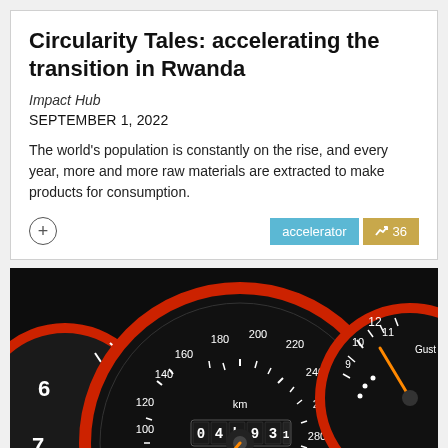Circularity Tales: accelerating the transition in Rwanda
Impact Hub
SEPTEMBER 1, 2022
The world's population is constantly on the rise, and every year, more and more raw materials are extracted to make products for consumption.
[Figure (photo): Close-up photograph of car dashboard speedometer gauges with red trim rings and orange needle on dark background. Odometer reads 04531. Speedometer shows up to 300 km/h.]